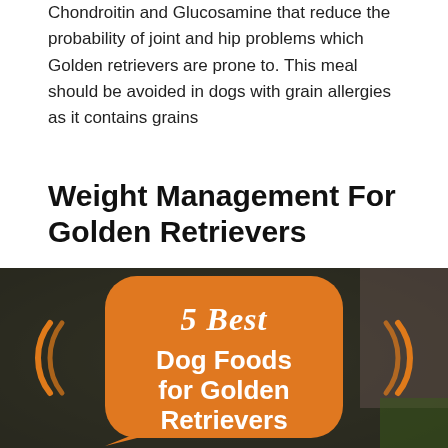Chondroitin and Glucosamine that reduce the probability of joint and hip problems which Golden retrievers are prone to. This meal should be avoided in dogs with grain allergies as it contains grains
Weight Management For Golden Retrievers
[Figure (photo): Infographic image with dark blurred background showing an orange speech-bubble shape containing white text: '5 Best Dog Foods for Golden Retrievers' with '5 Best' in italic script and 'Dog Foods for Golden Retrievers' in bold sans-serif. Orange curved quotation bracket decorations appear on either side of the bubble.]